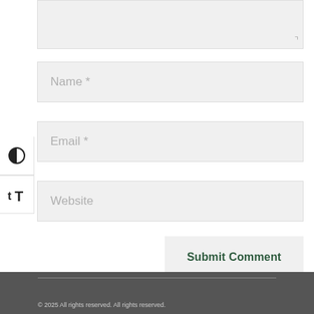[Figure (screenshot): Cropped textarea form field with light gray background and resize handle icon in bottom-right corner]
Name *
Email *
Website
[Figure (infographic): Left sidebar with two icon buttons: a half-filled circle (contrast/accessibility) and a text-size icon (tT)]
Submit Comment
© 2025 All rights reserved. All rights reserved.